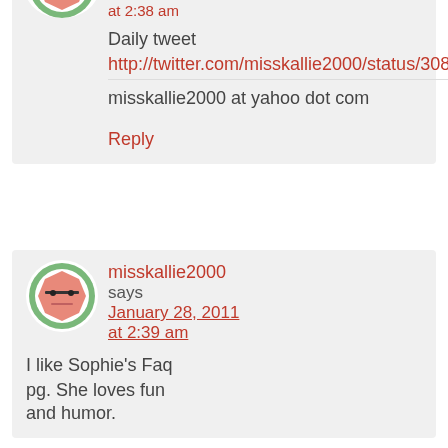at 2:38 am
Daily tweet
http://twitter.com/misskallie2000/status/3080...
misskallie2000 at yahoo dot com
Reply
misskallie2000 says January 28, 2011 at 2:39 am
I like Sophie's Faq pg. She loves fun and humor.